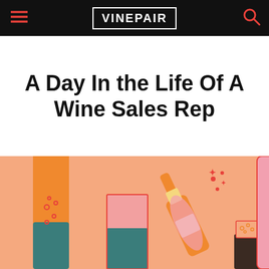VINEPAIR
A Day In the Life Of A Wine Sales Rep
[Figure (illustration): Colorful illustration on peach/salmon background showing wine and beverage bottles and glasses: an orange beer bottle on the left with teal base, a pink/rose wine glass in the center, a champagne bottle lying on its side spraying bubbles in the upper right, a small teal drink glass with bubbles on the lower right edge, and part of another bottle on the far right edge.]